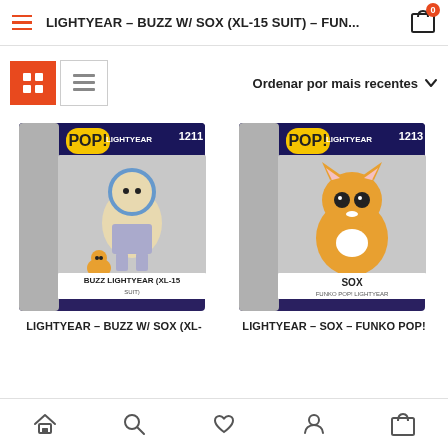LIGHTYEAR – BUZZ W/ SOX (XL-15 SUIT) – FUN...
Ordenar por mais recentes
[Figure (photo): Funko Pop figure #1211 – Buzz Lightyear with Sox in XL-15 suit, in branded Lightyear box]
[Figure (photo): Funko Pop figure #1213 – Sox the cat, in branded Lightyear box]
LIGHTYEAR – BUZZ W/ SOX (XL-
LIGHTYEAR – SOX – FUNKO POP!
Home | Search | Wishlist | Account | Cart